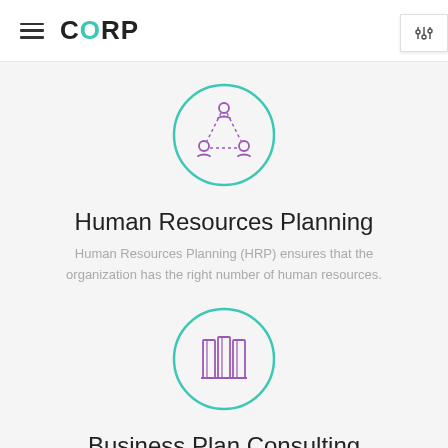CORP
[Figure (illustration): Teal circle outline with purple people/network icon inside]
Human Resources Planning
Human Resources Planning (HRP) ensures that the organization has the right number of human resources.
[Figure (illustration): Teal circle outline with purple books/library icon inside]
Business Plan Consulting